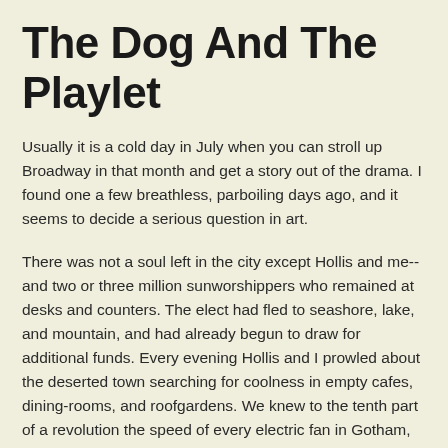The Dog And The Playlet
Usually it is a cold day in July when you can stroll up Broadway in that month and get a story out of the drama. I found one a few breathless, parboiling days ago, and it seems to decide a serious question in art.
There was not a soul left in the city except Hollis and me--and two or three million sunworshippers who remained at desks and counters. The elect had fled to seashore, lake, and mountain, and had already begun to draw for additional funds. Every evening Hollis and I prowled about the deserted town searching for coolness in empty cafes, dining-rooms, and roofgardens. We knew to the tenth part of a revolution the speed of every electric fan in Gotham, and we followed the swiftest as they varied. Hollis's fiancee. Miss Loris Sherman, had been in the Adirondacks, at Lower Saranac Lake, for a month. In another week he would join her party there. In the meantime, he cursed the city cheerfully and optimistically